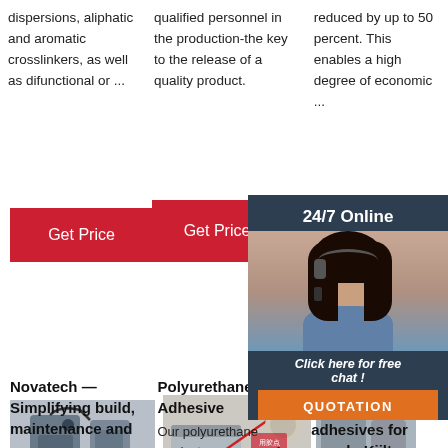dispersions, aliphatic and aromatic crosslinkers, as well as difunctional or ...
qualified personnel in the production-the key to the release of a quality product.
reduced by up to 50 percent. This enables a high degree of economic ...
Get Price
Get Price
Get
[Figure (screenshot): 24/7 Online chat widget with woman wearing headset, Click here for free chat!, QUOTATION button]
[Figure (photo): Industrial machine equipment photo]
[Figure (photo): Polyurethane adhesive product photo with container and box]
[Figure (photo): Partial product machine photo]
Novatech — Simplifying build, maintenance and
Polyurethane Adhesive
Our polyurethane products are some of
Kestopur 1010 Polyurethane adhesives for wood - Kiilto